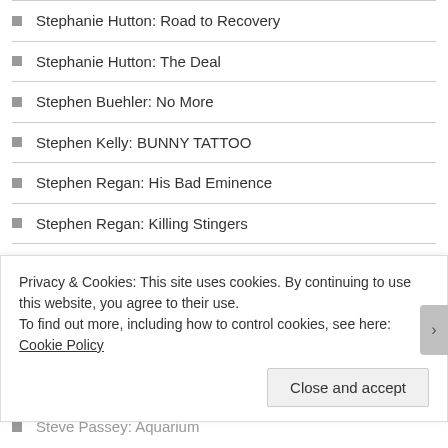Stephanie Hutton: Road to Recovery
Stephanie Hutton: The Deal
Stephen Buehler: No More
Stephen Kelly: BUNNY TATTOO
Stephen Regan: His Bad Eminence
Stephen Regan: Killing Stingers
Steve Beers: The News
Steve Campbell: Cuckoos
Steve Cushman: Shopping, Later
Steve Gergley: Must Have Horse Experience
Steve Passey: Aquarium
Privacy & Cookies: This site uses cookies. By continuing to use this website, you agree to their use.
To find out more, including how to control cookies, see here: Cookie Policy
Close and accept